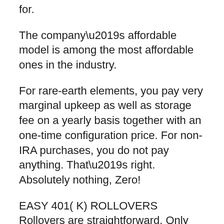for.
The company’s affordable model is among the most affordable ones in the industry.
For rare-earth elements, you pay very marginal upkeep as well as storage fee on a yearly basis together with an one-time configuration price. For non-IRA purchases, you do not pay anything. That’s right. Absolutely nothing, Zero!
EASY 401( K) ROLLOVERS
Rollovers are straightforward. Only when you choose the right company.
At Goldco, you can have a fast and problem-free rollover. All you have to do is open a